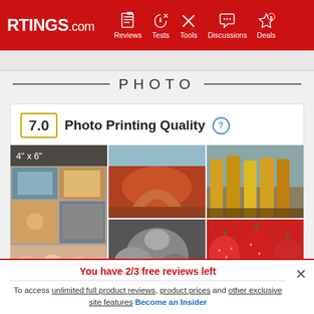RTINGS.com | Reviews | Tests | Tools | Discussions | Deals
PHOTO
[Figure (screenshot): Score card with 7.0 rating for Photo Printing Quality, with a grid of sample photos showing 4x6 prints including landscapes, portraits, strawberries, and black-and-white macro images]
You have 2/3 free reviews left
To access unlimited full product reviews, product prices and other exclusive site features Become an Insider